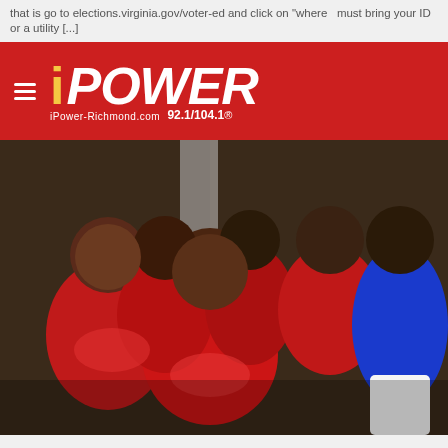that is go to elections.virginia.gov/voter-ed and click on "where must bring your ID or a utility [...]
[Figure (logo): iPOWER radio station logo with yellow 'i' and white 'POWER' text on red background, 92.1/104.1 frequency]
[Figure (photo): Group photo of several men wearing red Stone Soul t-shirts and one man in blue shirt, outdoor event]
LOCAL | ipowerrichmond Staff
Urban One Throughout The 22 years in Richmond! [Photos]
Urban One formally Radio One celebrates 42 years and 22 years in Richmond! https://www.instagram.com/p/CUoDj1BFTDq/ Check